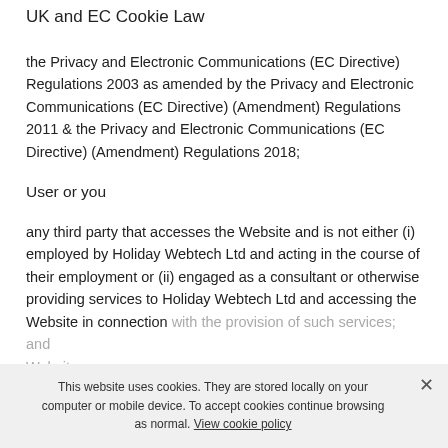UK and EC Cookie Law
the Privacy and Electronic Communications (EC Directive) Regulations 2003 as amended by the Privacy and Electronic Communications (EC Directive) (Amendment) Regulations 2011 & the Privacy and Electronic Communications (EC Directive) (Amendment) Regulations 2018;
User or you
any third party that accesses the Website and is not either (i) employed by Holiday Webtech Ltd and acting in the course of their employment or (ii) engaged as a consultant or otherwise providing services to Holiday Webtech Ltd and accessing the Website in connection with the provision of such services; and
Website
This website uses cookies. They are stored locally on your computer or mobile device. To accept cookies continue browsing as normal. View cookie policy